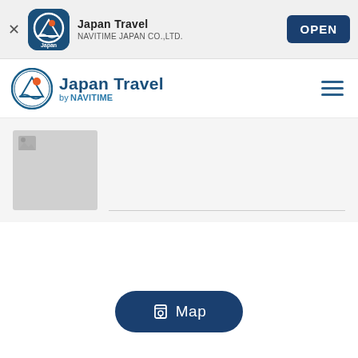[Figure (screenshot): App store install banner for Japan Travel by NAVITIME with close button, app icon, app name, developer name, and OPEN button]
[Figure (screenshot): Japan Travel by NAVITIME website navigation bar with logo and hamburger menu icon]
[Figure (screenshot): Partially loaded content card with grey thumbnail placeholder and content area below navbar]
Map